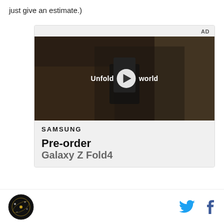just give an estimate.)
[Figure (screenshot): Samsung advertisement showing a video player with a woman holding a foldable phone, text 'Unfold your world', play button overlay, Samsung logo, and 'Pre-order' text below]
Logo icon | Twitter icon | Facebook icon